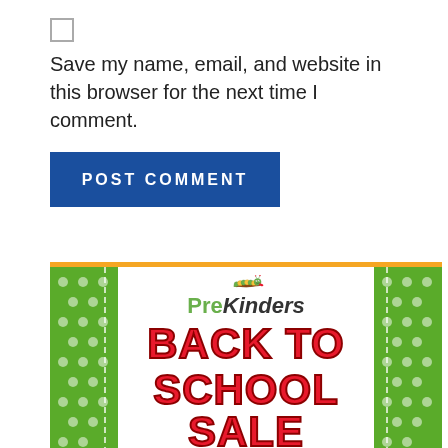Save my name, email, and website in this browser for the next time I comment.
POST COMMENT
[Figure (illustration): PreKinders Back to School Sale promotional banner with green polka-dot borders, caterpillar logo, and red bold text reading BACK TO SCHOOL SALE]